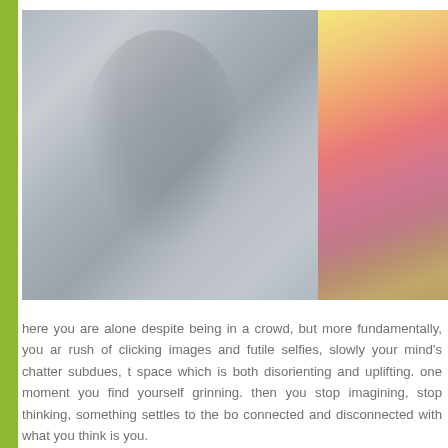[Figure (photo): Left image: a misty, foggy scene with a blurred silhouette of a person in a gray-blue haze. Right image: a warm gradient photo blending yellow, orange, pink, and rose tones.]
here you are alone despite being in a crowd, but more fundamentally, you are rush of clicking images and futile selfies, slowly your mind's chatter subdues, t space which is both disorienting and uplifting. one moment you find yourself grinning. then you stop imagining, stop thinking, something settles to the bo connected and disconnected with what you think is you.